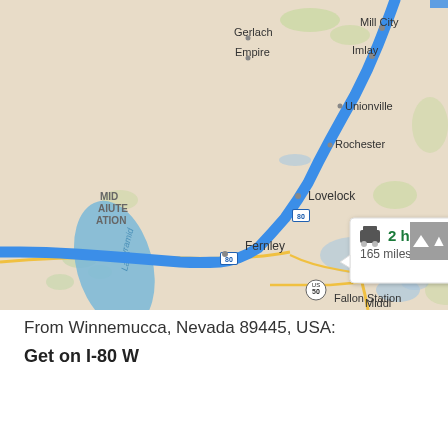[Figure (map): Google Maps screenshot showing a driving route along I-80 W through Nevada, from Winnemucca area heading southwest through Lovelock, Fernley, and past Fallon. A popup shows 2 hr 27 min, 165 miles. Locations visible: Mill City, Imlay, Unionville, Rochester, Gerlach, Empire, Lovelock, Fernley, Fallon, Fallon Station, Stillwater, Pyramid Lake. I-80 route highlighted in blue.]
From Winnemucca, Nevada 89445, USA:
Get on I-80 W